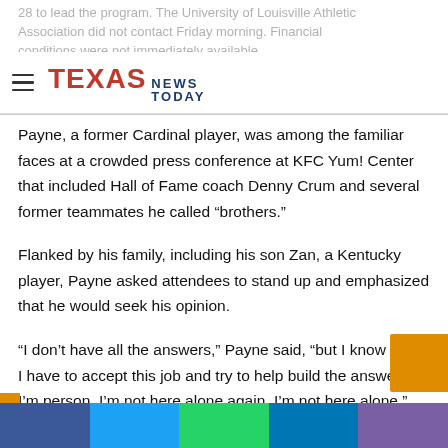28 to lead the program. The University of Louisville Athletic Association did not contact Friday morning. Financial conditions were not immediately available.
TEXAS NEWS TODAY
Payne, a former Cardinal player, was among the familiar faces at a crowded press conference at KFC Yum! Center that included Hall of Fame coach Denny Crum and several former teammates he called “brothers.”
Flanked by his family, including his son Zan, a Kentucky player, Payne asked attendees to stand up and emphasized that he would seek his opinion.
“I don’t have all the answers,” Payne said, “but I know what I have to accept this job and try to help build the answers. I’m person. I’m not here alone again. I’m not here alone.”